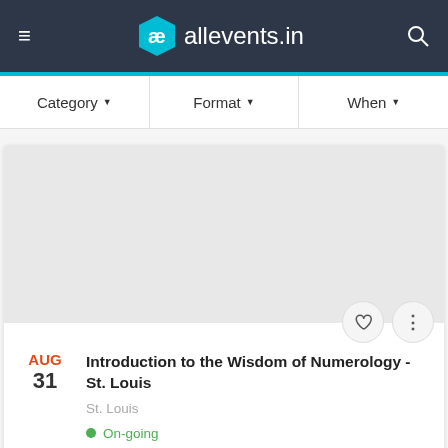allevents.in
Category ▼   Format ▼   When ▼
[Figure (screenshot): Gray placeholder image area for the event]
AUG 31 Introduction to the Wisdom of Numerology - St. Louis
St. Louis
On-going